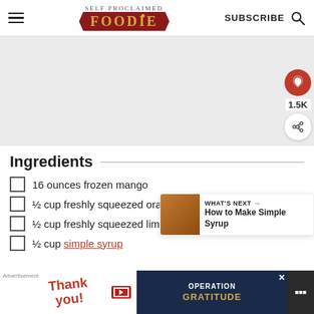SELF PROCLAIMED FOODIE | SUBSCRIBE
[Figure (other): Large image placeholder area (light gray), with social sidebar showing heart icon with 1.5K count and share icon]
Ingredients
16 ounces frozen mango
½ cup freshly squeezed orange juice
½ cup freshly squeezed lime juice
½ cup simple syrup
[Figure (other): WHAT'S NEXT advertisement: How to Make Simple Syrup with thumbnail image]
[Figure (other): Bottom advertisement banner: Thank you military Operation Gratitude ad]